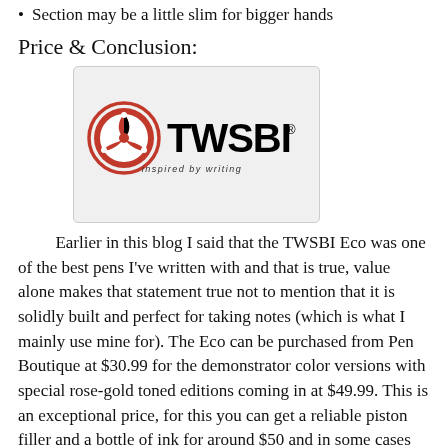Section may be a little slim for bigger hands
Price & Conclusion:
[Figure (logo): TWSBI logo — red circular emblem with stylized triangular design on the left, bold black text 'TWSBI' on the right with a registered trademark symbol, and italic text 'inspired by writing' below, on a light grey rounded rectangle background]
Earlier in this blog I said that the TWSBI Eco was one of the best pens I've written with and that is true, value alone makes that statement true not to mention that it is solidly built and perfect for taking notes (which is what I mainly use mine for). The Eco can be purchased from Pen Boutique at $30.99 for the demonstrator color versions with special rose-gold toned editions coming in at $49.99. This is an exceptional price, for this you can get a reliable piston filler and a bottle of ink for around $50 and in some cases less than $50 which just makes this a pen everyone should have in their collection. If anyone, including yourself either doesn't have one of these or has expressed interest in getting their first fountain pen, I'd say you can't do better option than the